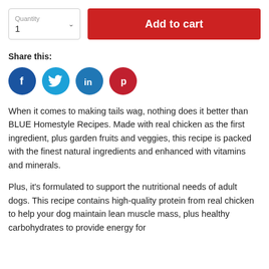[Figure (screenshot): E-commerce quantity selector box with label 'Quantity' and value '1' with dropdown arrow, and a red 'Add to cart' button]
Share this:
[Figure (infographic): Social media share icons: Facebook (dark blue circle with 'f'), Twitter (light blue circle with bird icon), LinkedIn (blue circle with 'in'), Pinterest (dark red circle with 'p')]
When it comes to making tails wag, nothing does it better than BLUE Homestyle Recipes. Made with real chicken as the first ingredient, plus garden fruits and veggies, this recipe is packed with the finest natural ingredients and enhanced with vitamins and minerals.
Plus, it's formulated to support the nutritional needs of adult dogs. This recipe contains high-quality protein from real chicken to help your dog maintain lean muscle mass, plus healthy carbohydrates to provide energy for everyday life.